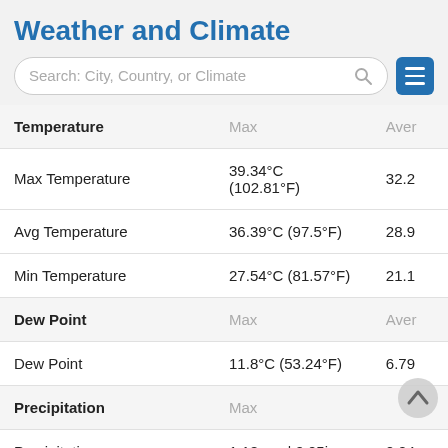Weather and Climate
| Temperature | Max | Aver... |
| --- | --- | --- |
| Max Temperature | 39.34°C (102.81°F) | 32.2 |
| Avg Temperature | 36.39°C (97.5°F) | 28.9 |
| Min Temperature | 27.54°C (81.57°F) | 21.1 |
| Dew Point (header) | Max | Aver |
| Dew Point | 11.8°C (53.24°F) | 6.79 |
| Precipitation (header) | Max |  |
| Precipitation | 1.18mm | 0.05in | 0.04 |